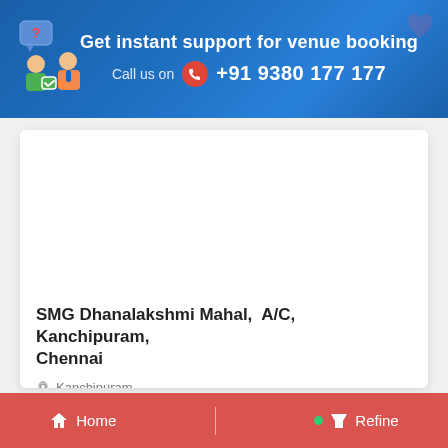[Figure (infographic): Blue banner with support agent icons on left, text 'Get instant support for venue booking', phone icon, and number +91 9380 177 177]
SMG Dhanalakshmi Mahal,  A/C, Kanchipuram, Chennai
Kanchipuram
Home   Refine